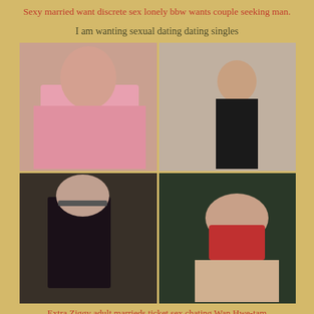Sexy married want discrete sex lonely bbw wants couple seeking man.
I am wanting sexual dating dating singles
[Figure (photo): A 2x2 collage of four photos of women in various poses and clothing.]
Extra Ziggy adult marrieds ticket sex chating Wan Hwe-tam
Horny house wives looking horney chicks 17078 for horny couples
Diamond, Lincolnshire 19307 hot fat woman a waiting sex black